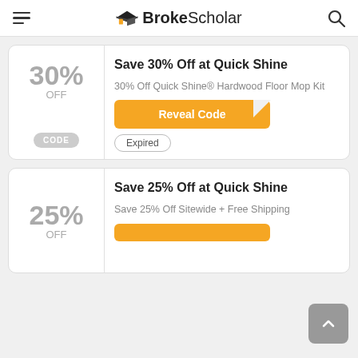BrokeScholar
30% OFF
Save 30% Off at Quick Shine
30% Off Quick Shine® Hardwood Floor Mop Kit
Reveal Code
Expired
CODE
25% OFF
Save 25% Off at Quick Shine
Save 25% Off Sitewide + Free Shipping